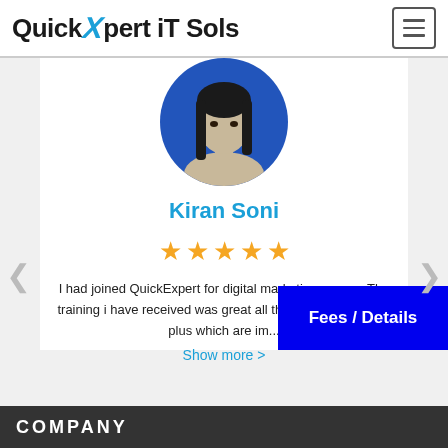QuickXpert iT Sols
[Figure (photo): Profile photo of Kiran Soni, a young woman with long dark hair against a blue background, shown in a circular crop]
Kiran Soni
★★★★★ (5 stars)
I had joined QuickExpert for digital marketing course. The training i have received was great all the necessary things plus which are im...
Show more >
Fees / Details
COMPANY